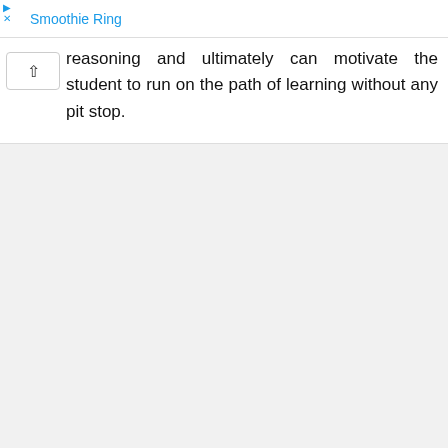Smoothie Ring
reasoning and ultimately can motivate the student to run on the path of learning without any pit stop.